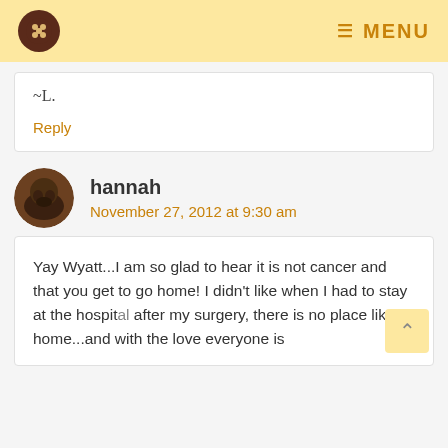MENU
~L.
Reply
hannah
November 27, 2012 at 9:30 am
Yay Wyatt...I am so glad to hear it is not cancer and that you get to go home! I didn't like when I had to stay at the hospital after my surgery, there is no place like home...and with the love everyone is